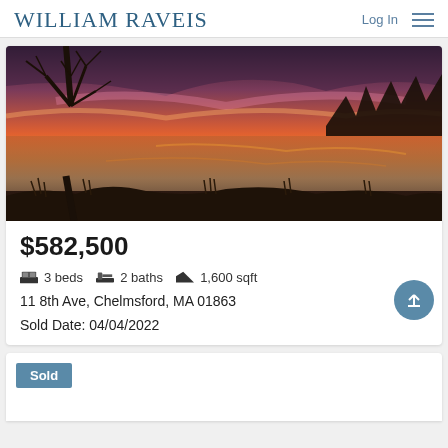William Raveis | Log In
[Figure (photo): Sunset over a lake with bare tree branches silhouetted in the foreground, warm orange and pink sky reflected in still water with wetland grasses at the edge.]
$582,500
3 beds  2 baths  1,600 sqft
11 8th Ave, Chelmsford, MA 01863
Sold Date: 04/04/2022
Sold